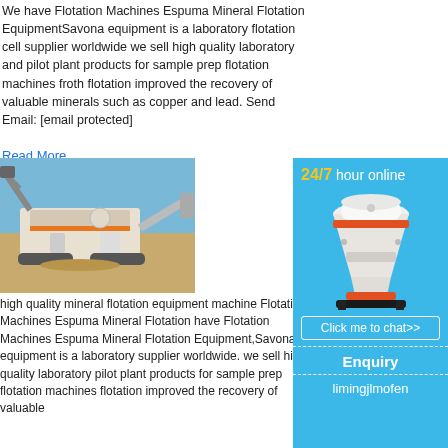We have Flotation Machines Espuma Mineral Flotation EquipmentSavona equipment is a laboratory flotation cell supplier worldwide we sell high quality laboratory and pilot plant products for sample prep flotation machines froth flotation improved the recovery of valuable minerals such as copper and lead. Send Email: [email protected]
Read More
[Figure (photo): Mining equipment / crusher machine on a construction site with blue sky background]
high quality mineral flotation equipment machine Flotation Machines Espuma Mineral Flotation have Flotation Machines Espuma Mineral Flotation Equipment,Savona equipment is a laboratory supplier worldwide. we sell high quality laboratory pilot plant products for sample prep flotation machines flotation improved the recovery of valuable
[Figure (infographic): Blue sidebar advertisement with '24/7 hour online' text, cone crusher image, 'Click me to chat>>' button, 'Enquiry' section, and 'limingjlmofen' text]